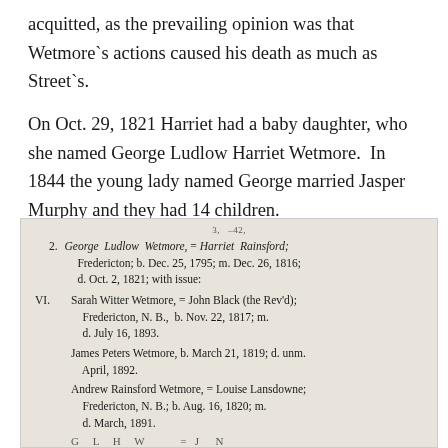acquitted, as the prevailing opinion was that Wetmore`s actions caused his death as much as Street`s.
On Oct. 29, 1821 Harriet had a baby daughter, who she named George Ludlow Harriet Wetmore. In 1844 the young lady named George married Jasper Murphy and they had 14 children.
[Figure (other): Scanned genealogical record showing entry 2 for George Ludlow Wetmore = Harriet Rainsford; Fredericton; b. Dec. 25, 1795; m. Dec. 26, 1816; d. Oct. 2, 1821; with issue: VI. Sarah Witter Wetmore, = John Black (the Rev'd); Fredericton, N. B., b. Nov. 22, 1817; m. d. July 16, 1893. James Peters Wetmore, b. March 21, 1819; d. unm. April, 1892. Andrew Rainsford Wetmore, = Louise Lansdowne; Fredericton, N. B.; b. Aug. 16, 1820; m. d. March, 1891.]